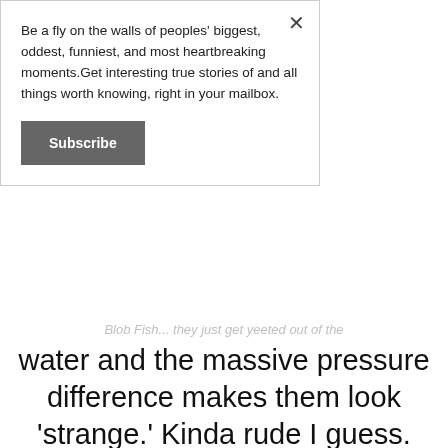Be a fly on the walls of peoples' biggest, oddest, funniest, and most heartbreaking moments.Get interesting true stories of and all things worth knowing, right in your mailbox.
Subscribe
Blob Fish... They just get yeeted out of the water and the massive pressure difference makes them look 'strange.' Kinda rude I guess. Like if we get yeeted into space and Aliens would laugh at our disfigured forms and print T-Shirts of it."
So many animals are only dangerous because of their need for survival or hunger.